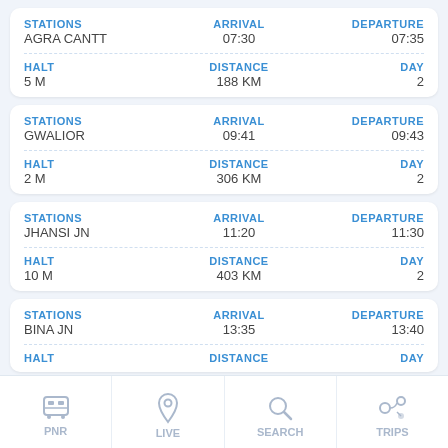| STATIONS | ARRIVAL | DEPARTURE |
| --- | --- | --- |
| AGRA CANTT | 07:30 | 07:35 |
| STATIONS | ARRIVAL | DEPARTURE |
| --- | --- | --- |
| GWALIOR | 09:41 | 09:43 |
| STATIONS | ARRIVAL | DEPARTURE |
| --- | --- | --- |
| JHANSI JN | 11:20 | 11:30 |
| STATIONS | ARRIVAL | DEPARTURE |
| --- | --- | --- |
| BINA JN | 13:35 | 13:40 |
PNR | LIVE | SEARCH | TRIPS